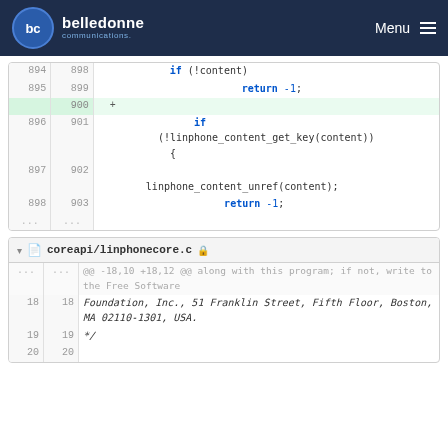belledonne communications — Menu
[Figure (screenshot): Code diff showing lines 894-898 (old) and 898-903 (new) with an added line 900 containing a '+' marker, and C code for if (!content) return -1; and if (!linphone_content_get_key(content)) { linphone_content_unref(content); return -1;]
[Figure (screenshot): Code diff panel header for coreapi/linphonecore.c with toggle and lock icons, showing lines 18-20 with copyright notice text: Foundation, Inc., 51 Franklin Street, Fifth Floor, Boston, MA 02110-1301, USA. and */]